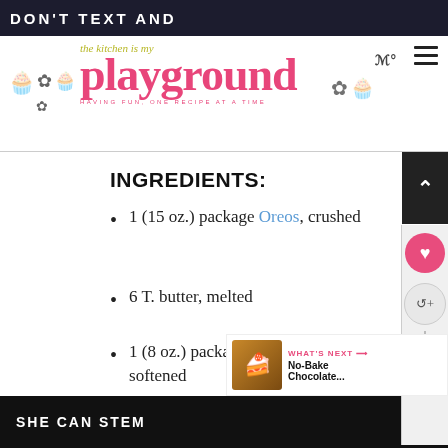DON'T TEXT AND ... the kitchen is my playground HAVING FUN, ONE RECIPE AT A TIME
INGREDIENTS:
1 (15 oz.) package Oreos, crushed
6 T. butter, melted
1 (8 oz.) package cream cheese, softened
1 c. confectioners' sugar
1 large (5.1 oz.) box instant chocolate pudding + milk to
SHE CAN STEM